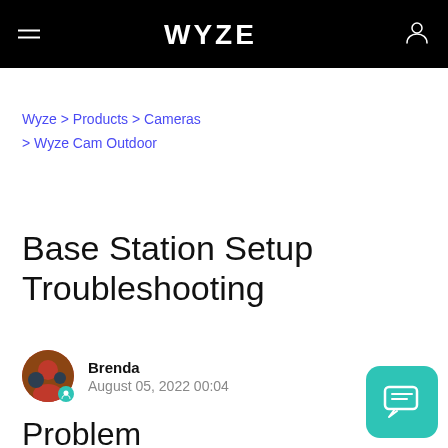WYZE
Wyze > Products > Cameras > Wyze Cam Outdoor
Base Station Setup Troubleshooting
Brenda
August 05, 2022 00:04
Problem